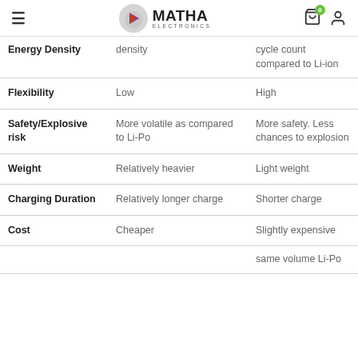MATHA ELECTRONICS
| Feature | Li-ion | Li-Po |
| --- | --- | --- |
| Energy Density | density | cycle count compared to Li-ion |
| Flexibility | Low | High |
| Safety/Explosive risk | More volatile as compared to Li-Po | More safety. Less chances to explosion |
| Weight | Relatively heavier | Light weight |
| Charging Duration | Relatively longer charge | Shorter charge |
| Cost | Cheaper | Slightly expensive |
|  |  | same volume Li-Po |